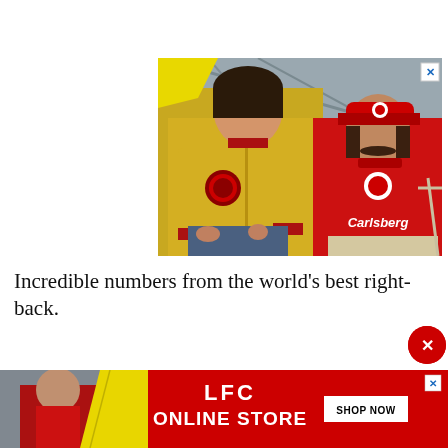[Figure (photo): Advertisement banner showing two people in Liverpool FC retro merchandise: a woman in a yellow zip-up jacket with LFC badge and a man in a red Carlsberg-sponsored LFC jersey and red cap, seated in what appears to be a stadium setting. A yellow diagonal accent and close (X) button are visible in the top corners.]
Incredible numbers from the world’s best right-back.
[Figure (photo): Bottom advertisement banner for LFC Online Store. Shows a man in red LFC jacket on the left side, yellow diagonal accent stripe, red background with white bold text reading 'LFC' and 'ONLINE STORE', a white 'SHOP NOW' button, and a close X button in top right.]